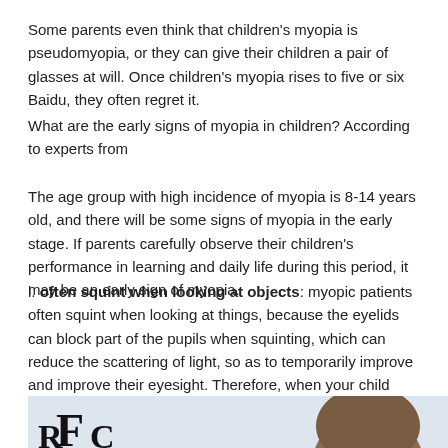Some parents even think that children's myopia is pseudomyopia, or they can give their children a pair of glasses at will. Once children's myopia rises to five or six Baidu, they often regret it.
What are the early signs of myopia in children? According to experts from
The age group with high incidence of myopia is 8-14 years old, and there will be some signs of myopia in the early stage. If parents carefully observe their children's performance in learning and daily life during this period, it may be an early sign of myopia.
l. often squint when looking at objects: myopic patients often squint when looking at things, because the eyelids can block part of the pupils when squinting, which can reduce the scattering of light, so as to temporarily improve and improve their eyesight. Therefore, when your child often squints at objects, it should be considered that he may have early myopia.
[Figure (photo): Eye chart with large letters F and partially visible R and C at bottom, alongside a partial view of a child's head with brown hair, suggesting an eye exam context.]